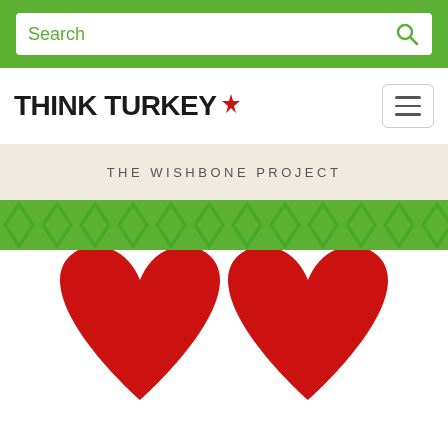[Figure (screenshot): Green search bar at the top of the Think Turkey website with a white search input field containing the placeholder text 'Search' in green, and a green magnifying glass icon on the right.]
[Figure (logo): Think Turkey logo with bold black text 'THINK TURKEY' followed by a red maple leaf symbol, and a hamburger menu button on the right.]
THE WISHBONE PROJECT
[Figure (illustration): Green diamond/chevron repeating pattern decorative band.]
[Figure (illustration): Two large red hearts forming a wishbone shape, with a white wishbone outline visible between and below them at the bottom center.]